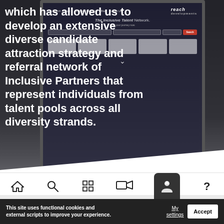[Figure (screenshot): Screenshot of a website called 'reach' showing 'The Inclusive Talent Network' with a dark overlaid photo of a person using a tablet/laptop. The website has a navigation bar, search filters, and category boxes. A white chevron down arrow is visible. The image is displayed as if on a laptop/monitor screen.]
which has allowed us to develop an extensive diverse candidate attraction strategy and referral network of Inclusive Partners that represent individuals from talent pools across all diversity strands.
[Figure (screenshot): Bottom toolbar of a mobile browser showing home, search, grid, media, and a dark rounded icon with a person silhouette, plus a question mark icon.]
This site uses functional cookies and external scripts to improve your experience.
My settings
Accept